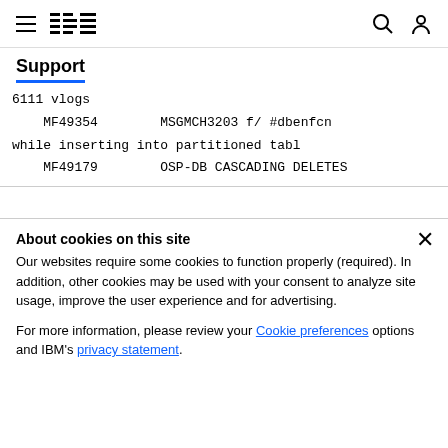IBM Support
6111 vlogs
    MF49354        MSGMCH3203 f/ #dbenfcn
while inserting into partitioned tabl
    MF49179        OSP-DB CASCADING DELETES
About cookies on this site
Our websites require some cookies to function properly (required). In addition, other cookies may be used with your consent to analyze site usage, improve the user experience and for advertising.

For more information, please review your Cookie preferences options and IBM's privacy statement.
Required only
Accept all